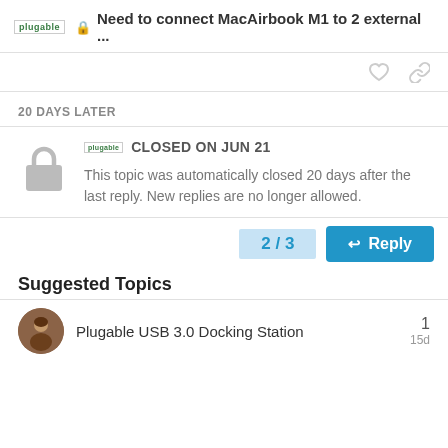Need to connect MacAirbook M1 to 2 external ...
20 DAYS LATER
CLOSED ON JUN 21
This topic was automatically closed 20 days after the last reply. New replies are no longer allowed.
2 / 3
Reply
Suggested Topics
Plugable USB 3.0 Docking Station
1
15d